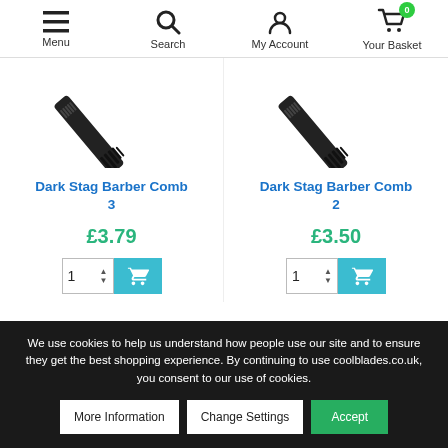Menu | Search | My Account | Your Basket (0)
[Figure (photo): Dark Stag Barber Comb 3 product image - black comb diagonal]
Dark Stag Barber Comb 3
£3.79
[Figure (photo): Dark Stag Barber Comb 2 product image - black comb diagonal]
Dark Stag Barber Comb 2
£3.50
We use cookies to help us understand how people use our site and to ensure they get the best shopping experience. By continuing to use coolblades.co.uk, you consent to our use of cookies.